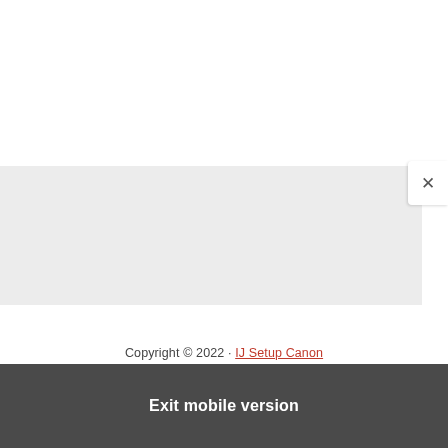[Figure (screenshot): Gray panel area representing a collapsed or empty content region with a close (×) button in the top-right corner on a white rounded tab]
Copyright © 2022 · IJ Setup Canon
Exit mobile version